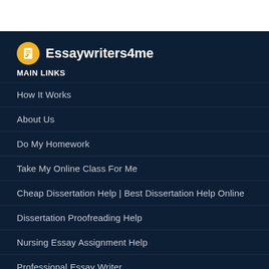[Figure (logo): Essaywriters4me logo: yellow circle with document/checklist icon, followed by bold white text 'Essaywriters4me']
MAIN LINKS
How It Works
About Us
Do My Homework
Take My Online Class For Me
Cheap Dissertation Help | Best Dissertation Help Online
Dissertation Proofreading Help
Nursing Essay Assignment Help
Professional Essay Writer
Write My Essay